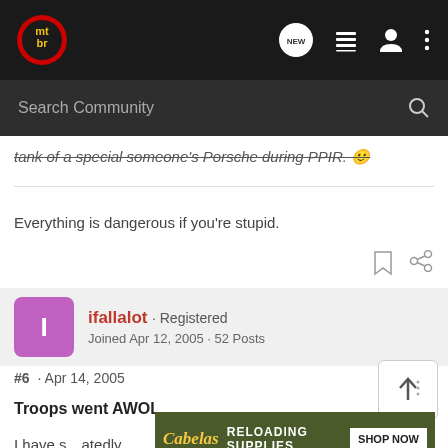mtbr - navigation bar with search
tank of a special someone's Porsche during PPIR. 🙂
Everything is dangerous if you're stupid.
ifallalot · Registered
Joined Apr 12, 2005 · 52 Posts
#6 · Apr 14, 2005
Troops went AWOL
[Figure (screenshot): Cabela's Reloading Supplies advertisement banner with 'SHOP NOW' button]
I have s... atedly